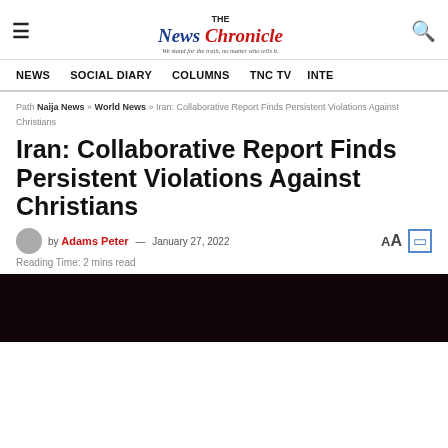The News Chronicle — We stand for the truth, no matter who tells it.
NEWS   SOCIAL DIARY   COLUMNS   TNC TV   INTE
Path Naija News » World News » Iran: Collaborative Report Finds Persistent Violations Against Christians
Iran: Collaborative Report Finds Persistent Violations Against Christians
by Adams Peter — January 27, 2022
Reading Time: 2 mins read
[Figure (photo): Dark-toned article image at the bottom of the page]